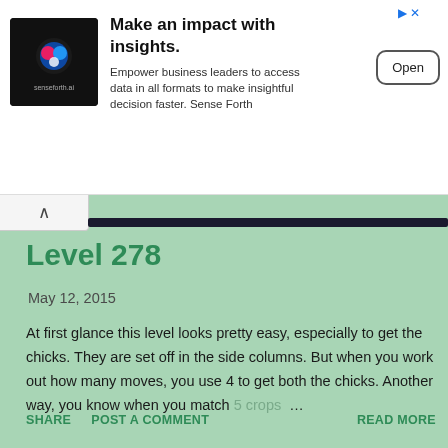[Figure (screenshot): Advertisement banner for senseforth.ai with logo, headline 'Make an impact with insights.', body text, and Open button]
Level 278
May 12, 2015
At first glance this level looks pretty easy, especially to get the chicks. They are set off in the side columns. But when you work out how many moves, you use 4 to get both the chicks. Another way, you know when you match 5 crops …
SHARE   POST A COMMENT   READ MORE